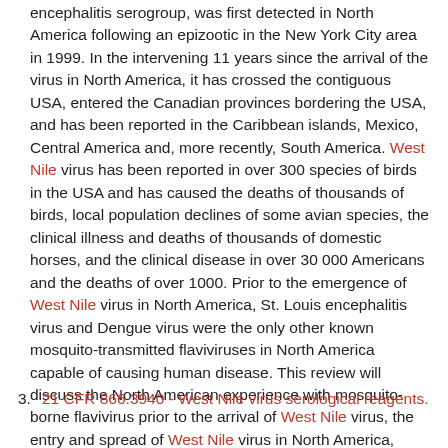encephalitis serogroup, was first detected in North America following an epizootic in the New York City area in 1999. In the intervening 11 years since the arrival of the virus in North America, it has crossed the contiguous USA, entered the Canadian provinces bordering the USA, and has been reported in the Caribbean islands, Mexico, Central America and, more recently, South America. West Nile virus has been reported in over 300 species of birds in the USA and has caused the deaths of thousands of birds, local population declines of some avian species, the clinical illness and deaths of thousands of domestic horses, and the clinical disease in over 30 000 Americans and the deaths of over 1000. Prior to the emergence of West Nile virus in North America, St. Louis encephalitis virus and Dengue virus were the only other known mosquito-transmitted flaviviruses in North America capable of causing human disease. This review will discuss the North American experience with mosquito-borne flavivirus prior to the arrival of West Nile virus, the entry and spread of West Nile virus in North America, effects on wild bird populations, genetic changes in the virus, and the current state of West Nile virus transmission.
3. 21 CFR 866.3940 - West Nile virus serological reagents.